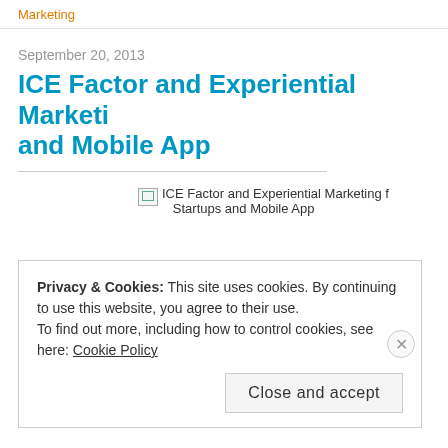Marketing
September 20, 2013
ICE Factor and Experiential Marketing and Mobile App
[Figure (photo): Broken image placeholder for 'ICE Factor and Experiential Marketing for Startups and Mobile App']
Privacy & Cookies: This site uses cookies. By continuing to use this website, you agree to their use.
To find out more, including how to control cookies, see here: Cookie Policy
Close and accept